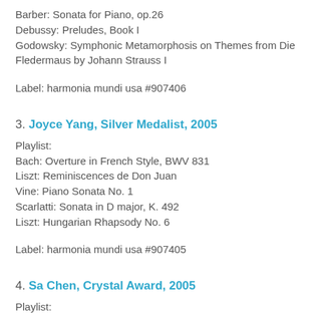Barber: Sonata for Piano, op.26
Debussy: Preludes, Book I
Godowsky: Symphonic Metamorphosis on Themes from Die Fledermaus by Johann Strauss I
Label: harmonia mundi usa #907406
3. Joyce Yang, Silver Medalist, 2005
Playlist:
Bach: Overture in French Style, BWV 831
Liszt: Reminiscences de Don Juan
Vine: Piano Sonata No. 1
Scarlatti: Sonata in D major, K. 492
Liszt: Hungarian Rhapsody No. 6
Label: harmonia mundi usa #907405
4. Sa Chen, Crystal Award, 2005
Playlist:
Chopin: Sonata No. 3 in B minor, Op. 58